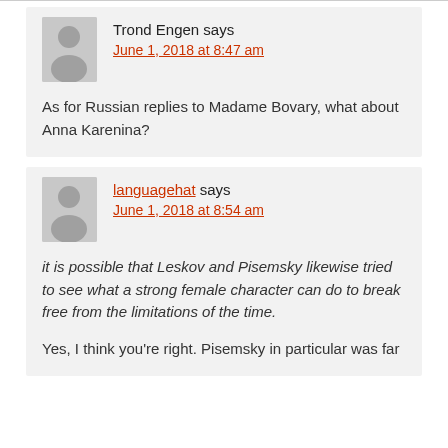Trond Engen says
June 1, 2018 at 8:47 am
As for Russian replies to Madame Bovary, what about Anna Karenina?
languagehat says
June 1, 2018 at 8:54 am
it is possible that Leskov and Pisemsky likewise tried to see what a strong female character can do to break free from the limitations of the time.
Yes, I think you're right. Pisemsky in particular was far